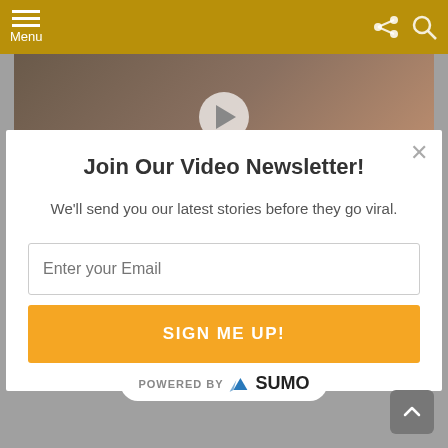Menu
[Figure (photo): Background photo of elderly bearded man, partially visible behind modal overlay]
Join Our Video Newsletter!
We'll send you our latest stories before they go viral.
Enter your Email
SIGN ME UP!
POWERED BY SUMO